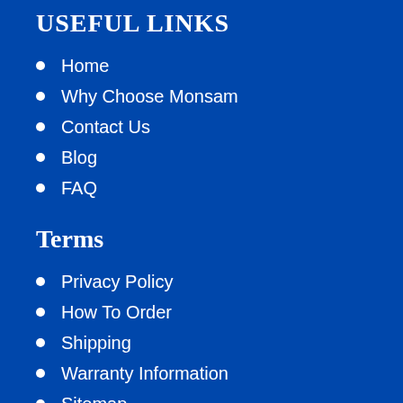USEFUL LINKS
Home
Why Choose Monsam
Contact Us
Blog
FAQ
Terms
Privacy Policy
How To Order
Shipping
Warranty Information
Sitemap
Follow Us On